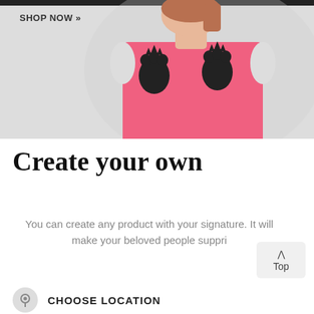[Figure (photo): Woman wearing a pink sleeveless top with two black paw print designs on the chest, cropped photo showing upper body against a light background. 'SHOP NOW »' text overlay in upper left.]
Create your own
You can create any product with your signature. It will make your beloved people suppri
^ Top
CHOOSE LOCATION